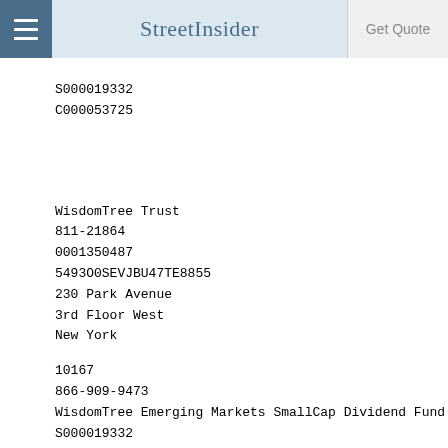StreetInsider | Get Quote
S000019332
C000053725
WisdomTree Trust
811-21864
0001350487
5493O0SEVJBU47TE8855
230 Park Avenue
3rd Floor West
New York
10167
866-909-9473
WisdomTree Emerging Markets SmallCap Dividend Fund
S000019332
549300IH7SUKJY3BJ337
2022-03-31